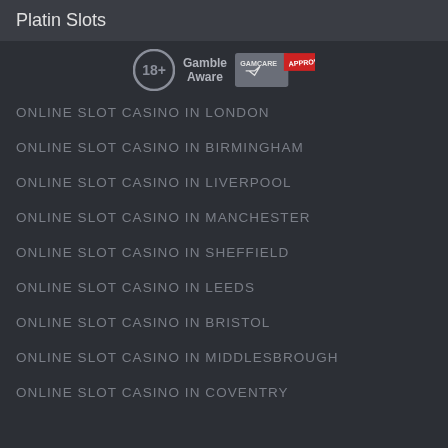Platin Slots
[Figure (logo): Row of responsible gambling badges: 18+ circle badge, Gamble Aware text badge, GamCare approved badge]
ONLINE SLOT CASINO IN LONDON
ONLINE SLOT CASINO IN BIRMINGHAM
ONLINE SLOT CASINO IN LIVERPOOL
ONLINE SLOT CASINO IN MANCHESTER
ONLINE SLOT CASINO IN SHEFFIELD
ONLINE SLOT CASINO IN LEEDS
ONLINE SLOT CASINO IN BRISTOL
ONLINE SLOT CASINO IN MIDDLESBROUGH
ONLINE SLOT CASINO IN COVENTRY